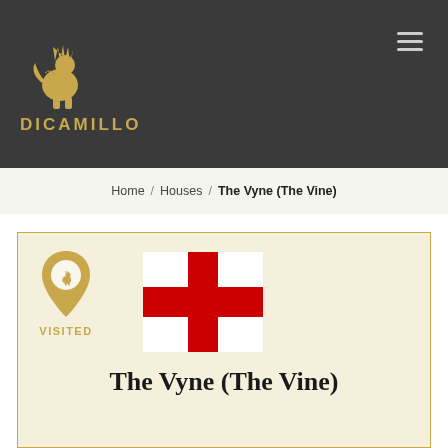DICAMILLO
Home / Houses / The Vyne (The Vine)
[Figure (logo): DiCamillo golden lion logo with location pin icon labeled VISITED and England flag (red cross on white)]
The Vyne (The Vine)